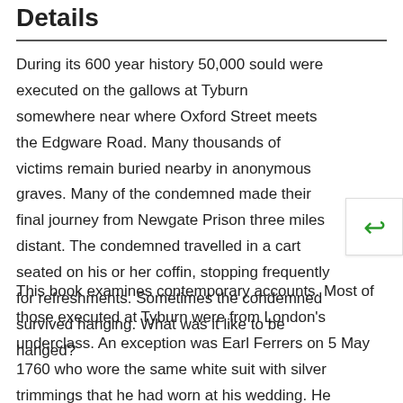Details
During its 600 year history 50,000 sould were executed on the gallows at Tyburn somewhere near where Oxford Street meets the Edgware Road. Many thousands of victims remain buried nearby in anonymous graves. Many of the condemned made their final journey from Newgate Prison three miles distant. The condemned travelled in a cart seated on his or her coffin, stopping frequently for refreshments. Sometimes the condemned survived hanging. What was it like to be hanged?
This book examines contemporary accounts. Most of those executed at Tyburn were from London's underclass. An exception was Earl Ferrers on 5 May 1760 who wore the same white suit with silver trimmings that he had worn at his wedding. He travelled from the Tower to Tyburn in his own carriage but the